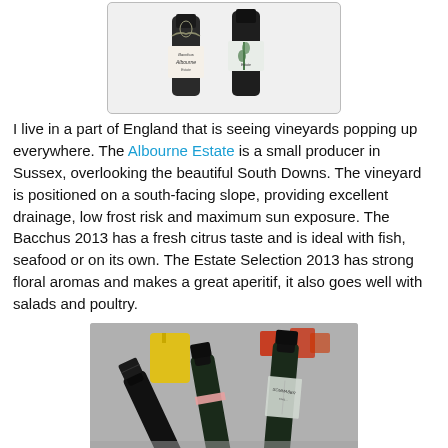[Figure (photo): Two wine bottles with Albourne Estate labels, one showing 'Bacchus' text, against a white background with a decorative border]
I live in a part of England that is seeing vineyards popping up everywhere. The Albourne Estate is a small producer in Sussex, overlooking the beautiful South Downs. The vineyard is positioned on a south-facing slope, providing excellent drainage, low frost risk and maximum sun exposure. The Bacchus 2013 has a fresh citrus taste and is ideal with fish, seafood or on its own. The Estate Selection 2013 has strong floral aromas and makes a great aperitif, it also goes well with salads and poultry.
[Figure (photo): Several sparkling wine/champagne bottles with dark foil tops, displayed at an angle, with yellow containers visible in the background]